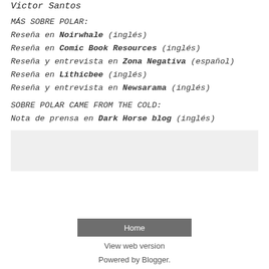Victor Santos
MÁS SOBRE POLAR:
Reseña en Noirwhale (inglés)
Reseña en Comic Book Resources (inglés)
Reseña y entrevista en Zona Negativa (español)
Reseña en Lithicbee (inglés)
Reseña y entrevista en Newsarama (inglés)
SOBRE POLAR CAME FROM THE COLD:
Nota de prensa en Dark Horse blog (inglés)
[Figure (other): Gray advertisement or image placeholder box]
Home
View web version
Powered by Blogger.